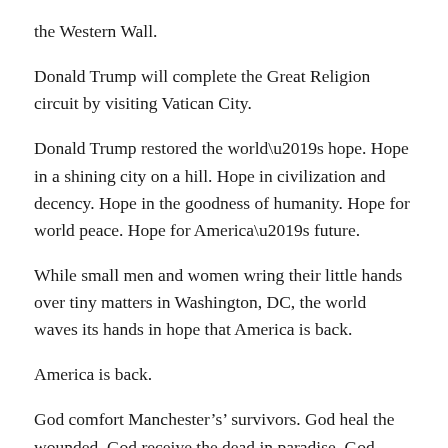the Western Wall.
Donald Trump will complete the Great Religion circuit by visiting Vatican City.
Donald Trump restored the world’s hope. Hope in a shining city on a hill. Hope in civilization and decency. Hope in the goodness of humanity. Hope for world peace. Hope for America’s future.
While small men and women wring their little hands over tiny matters in Washington, DC, the world waves its hands in hope that America is back.
America is back.
God comfort Manchester’s’ survivors. God heal the wounded. God receive the dead in paradise. God bless